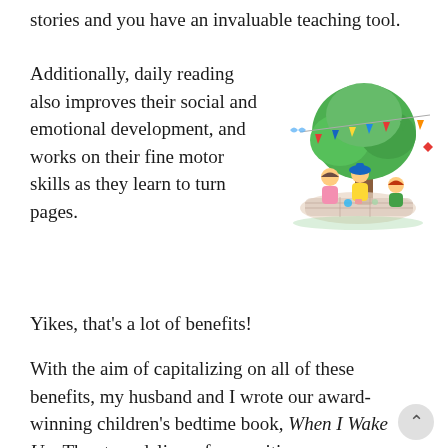stories and you have an invaluable teaching tool.
Additionally, daily reading also improves their social and emotional development, and works on their fine motor skills as they learn to turn pages.
[Figure (illustration): Colorful children's illustration showing kids having a picnic under a large green tree with bunting decorations]
Yikes, that’s a lot of benefits!
With the aim of capitalizing on all of these benefits, my husband and I wrote our award-winning children’s bedtime book, When I Wake Up. The story delivers fun, positive encouragement for toddlers to get to sleep on time and does so in an educational way.